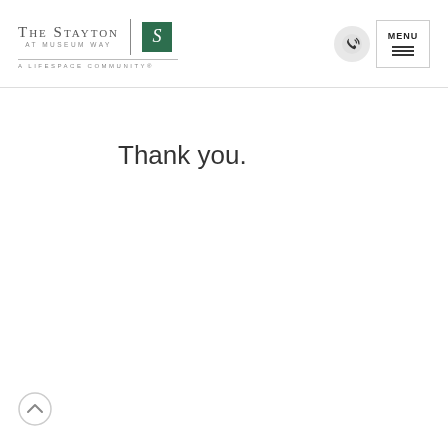The Stayton at Museum Way | A Lifespace Community®
Thank you.
[Figure (other): Back to top arrow button in bottom left corner]